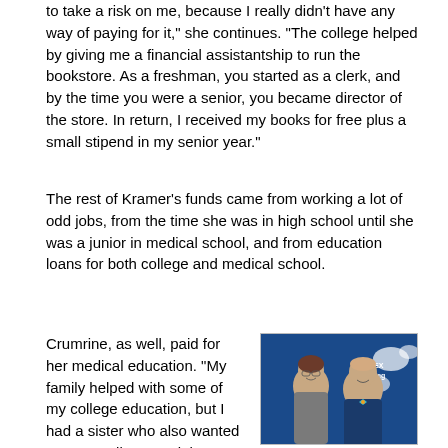to take a risk on me, because I really didn't have any way of paying for it," she continues. "The college helped by giving me a financial assistantship to run the bookstore. As a freshman, you started as a clerk, and by the time you were a senior, you became director of the store. In return, I received my books for free plus a small stipend in my senior year."
The rest of Kramer's funds came from working a lot of odd jobs, from the time she was in high school until she was a junior in medical school, and from education loans for both college and medical school.
Crumrine, as well, paid for her medical education. "My family helped with some of my college education, but I had a sister who also wanted to go to college, and they wanted to help her too," she explains. "So I was on my own for medical school."
[Figure (photo): Two people smiling in front of a blue Drexel College of Medicine banner — a woman with short brown hair wearing a grey jacket and a man wearing a blue suit with a colorful bow tie.]